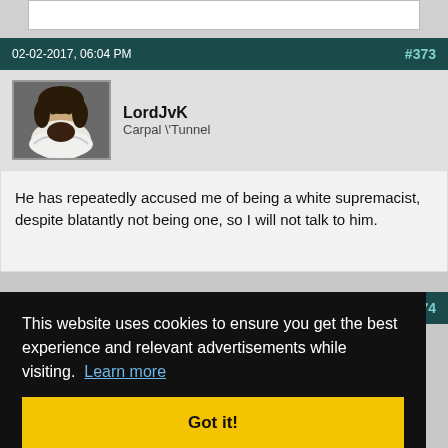02-02-2017, 06:04 PM  #373
LordJvK
Carpal \Tunnel
He has repeatedly accused me of being a white supremacist, despite blatantly not being one, so I will not talk to him.
#374
This website uses cookies to ensure you get the best experience and relevant advertisements while visiting.  Learn more
Got it!
calling a woman a slut just aren't problems I find worth